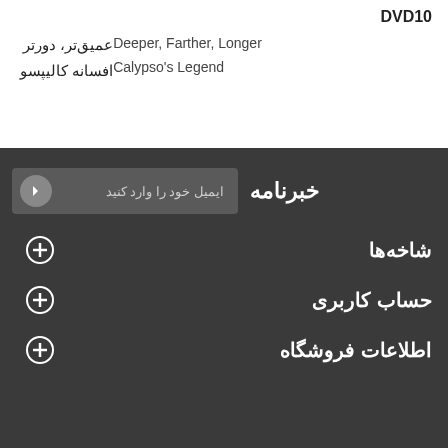DVD10
عمیق‌تر، دورتر / Deeper, Farther, Longer
افسانه کالیپسو / Calypso's Legend
خبرنامه
ایمیل خود را وارد کنید
شاخه‌ها
حساب کاربری
اطلاعات فروشگاه